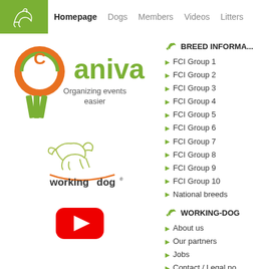Homepage | Dogs | Members | Videos | Litters
[Figure (logo): Caniva logo with orange C and green text, ribbon/medal decoration. Text: Organizing events easier]
[Figure (logo): Working Dog logo with dog outline illustration and orange arc underline]
[Figure (logo): YouTube play button red icon]
BREED INFORMA...
FCI Group 1
FCI Group 2
FCI Group 3
FCI Group 4
FCI Group 5
FCI Group 6
FCI Group 7
FCI Group 8
FCI Group 9
FCI Group 10
National breeds
WORKING-DOG
About us
Our partners
Jobs
Contact / Legal no...
General Terms an...
Privacy Policy